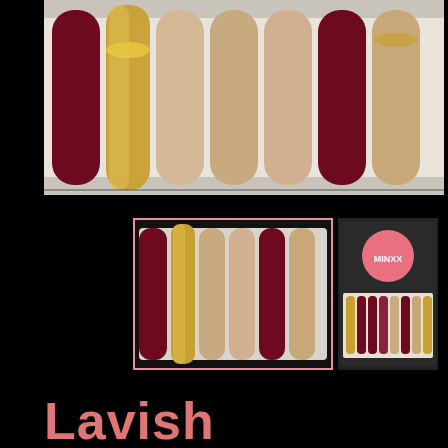[Figure (photo): Product photo showing press-on nails in a tray — alternating dark burgundy/maroon, gold metallic, and nude/beige colors arranged in a row]
[Figure (photo): Selected thumbnail of the first product photo (currently active/highlighted with pink border), showing nail tray from above]
[Figure (photo): Second thumbnail showing a MINXX branded box/case with the nail set inside, displaying gold, burgundy, and nude nails]
Lavish
$43.00
Pay in 4 interest-free installments for orders over $50 with shop Pay  Learn more
Size